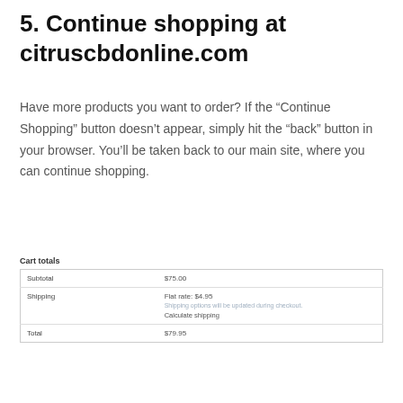5. Continue shopping at citruscbdonline.com
Have more products you want to order? If the “Continue Shopping” button doesn’t appear, simply hit the “back” button in your browser. You’ll be taken back to our main site, where you can continue shopping.
Cart totals
|  |  |
| --- | --- |
| Subtotal | $75.00 |
| Shipping | Flat rate: $4.95
Shipping options will be updated during checkout.
Calculate shipping |
| Total | $79.95 |
[Figure (screenshot): Proceed to checkout button circled in red, and PayPal button circled in red below]